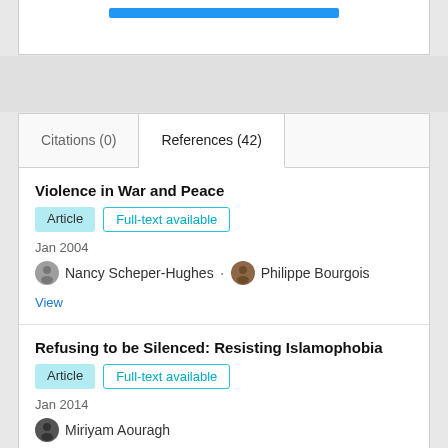[Figure (screenshot): Top white box with a blue button/bar partially visible]
Citations (0)
References (42)
Violence in War and Peace
Article
Full-text available
Jan 2004
Nancy Scheper-Hughes · Philippe Bourgois
View
Refusing to be Silenced: Resisting Islamophobia
Article
Full-text available
Jan 2014
Miriyam Aouragh